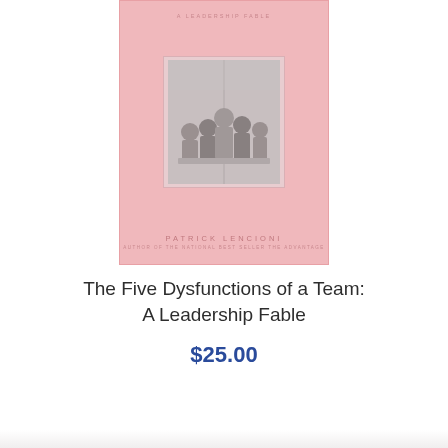[Figure (illustration): Book cover of 'The Five Dysfunctions of a Team: A Leadership Fable' by Patrick Lencioni. Pink/dusty rose background with a small photo of people in a meeting in the center. Author name 'PATRICK LENCIONI' at bottom of cover.]
The Five Dysfunctions of a Team: A Leadership Fable
$25.00